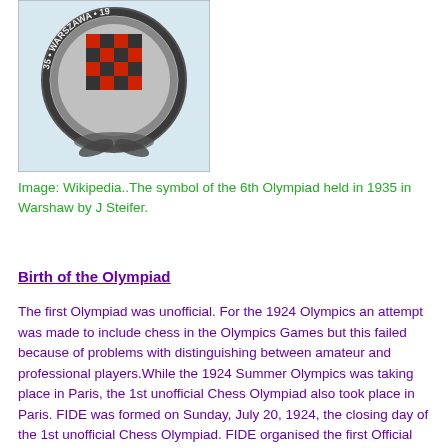[Figure (photo): A chess olympiad badge/medal from the 6th Olympiad held in 1935 in Warsaw, showing a checkered red and dark pattern with text '35 WARSZAWA 19' around the border, with decorative metalwork at the bottom.]
Image: Wikipedia..The symbol of the 6th Olympiad held in 1935 in Warshaw by J Steifer.
Birth of the Olympiad
The first Olympiad was unofficial. For the 1924 Olympics an attempt was made to include chess in the Olympics Games but this failed because of problems with distinguishing between amateur and professional players.While the 1924 Summer Olympics was taking place in Paris, the 1st unofficial Chess Olympiad also took place in Paris. FIDE was formed on Sunday, July 20, 1924, the closing day of the 1st unofficial Chess Olympiad. FIDE organised the first Official Olympiad in 1927 which